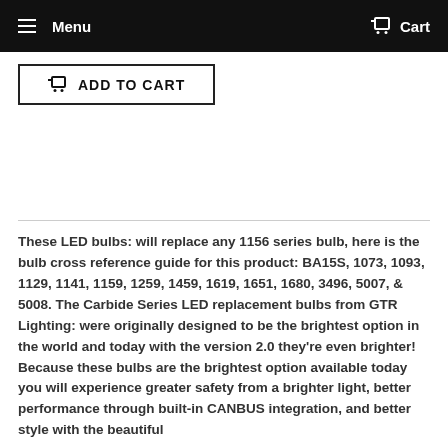Menu  Cart
ADD TO CART
These LED bulbs: will replace any 1156 series bulb, here is the bulb cross reference guide for this product: BA15S, 1073, 1093, 1129, 1141, 1159, 1259, 1459, 1619, 1651, 1680, 3496, 5007, & 5008. The Carbide Series LED replacement bulbs from GTR Lighting: were originally designed to be the brightest option in the world and today with the version 2.0 they're even brighter! Because these bulbs are the brightest option available today you will experience greater safety from a brighter light, better performance through built-in CANBUS integration, and better style with the beautiful